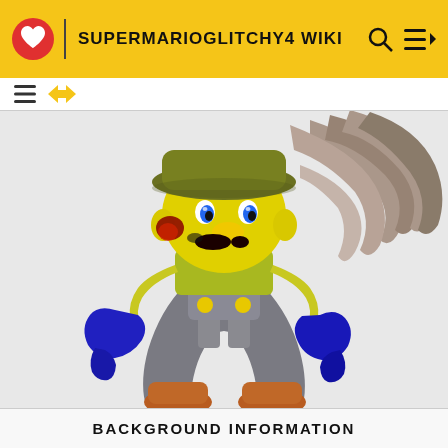SuperMarioGlitchy4 Wiki
[Figure (illustration): 3D rendered character resembling a glitched version of Mario/Luigi with yellow skin, olive green hat, gray overalls, blue gloves, orange/brown boots, and spaghetti-like hair on the right side. The character has a dark mustache mark and blue eyes.]
BACKGROUND INFORMATION